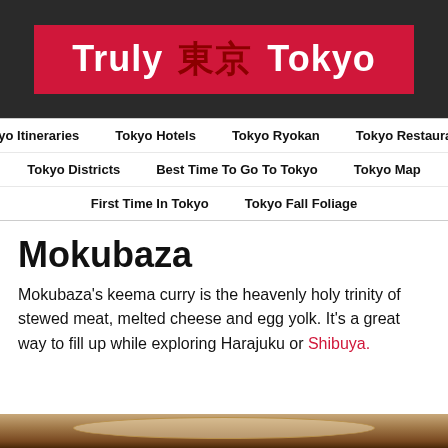Truly 東京 Tokyo
Tokyo Itineraries
Tokyo Hotels
Tokyo Ryokan
Tokyo Restaurants
Tokyo Districts
Best Time To Go To Tokyo
Tokyo Map
First Time In Tokyo
Tokyo Fall Foliage
Mokubaza
Mokubaza's keema curry is the heavenly holy trinity of stewed meat, melted cheese and egg yolk. It's a great way to fill up while exploring Harajuku or Shibuya.
[Figure (photo): Bottom strip showing a bowl of food, likely keema curry]